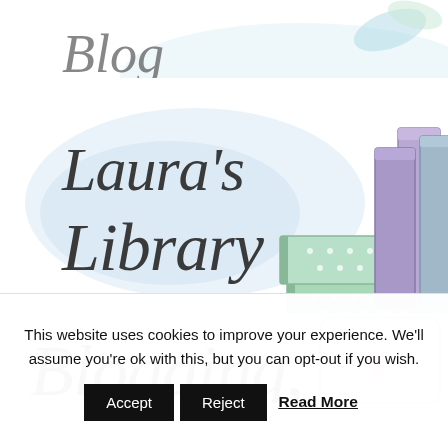[Figure (illustration): Partial top of a blog header illustration, cropped at top edge]
[Figure (illustration): Laura's Library blog banner illustration with cursive 'Laura's Library' text on a soft blue watercolor blob, and a stack of pastel-colored books (mint green dotted, pink) alongside purple standing books]
[Figure (illustration): Partial 'Blogging' blog banner illustration with cursive 'Blogging' text starting on the left and a tablet/laptop illustration on the right, cropped at bottom]
This website uses cookies to improve your experience. We'll assume you're ok with this, but you can opt-out if you wish.
Accept  Reject  Read More